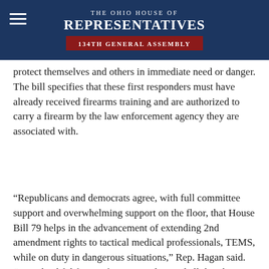The Ohio House of Representatives 134th General Assembly
protect themselves and others in immediate need or danger. The bill specifies that these first responders must have already received firearms training and are authorized to carry a firearm by the law enforcement agency they are associated with.
“Republicans and democrats agree, with full committee support and overwhelming support on the floor, that House Bill 79 helps in the advancement of extending 2nd amendment rights to tactical medical professionals, TEMS, while on duty in dangerous situations,” Rep. Hagan said. “I am thankful for our first responders and all that they sacrifice for our safety. These men and women are heroes amongst us.”
Tactical medical professionals are defined as emergency